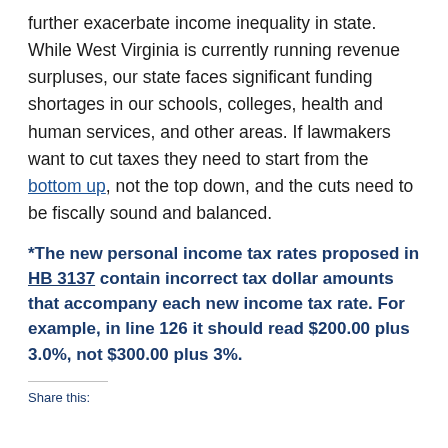further exacerbate income inequality in state. While West Virginia is currently running revenue surpluses, our state faces significant funding shortages in our schools, colleges, health and human services, and other areas. If lawmakers want to cut taxes they need to start from the bottom up, not the top down, and the cuts need to be fiscally sound and balanced.
*The new personal income tax rates proposed in HB 3137 contain incorrect tax dollar amounts that accompany each new income tax rate. For example, in line 126 it should read $200.00 plus 3.0%, not $300.00 plus 3%.
Share this: